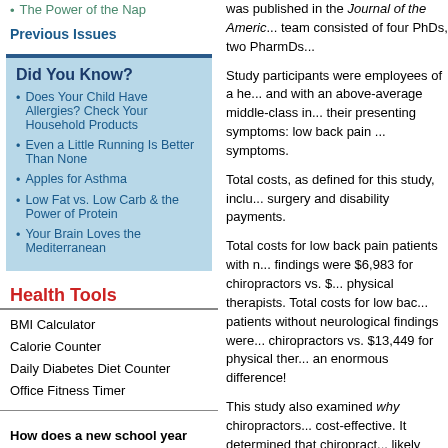The Power of the Nap
Previous Issues
Did You Know?
Does Your Child Have Allergies? Check Your Household Products
Even a Little Running Is Better Than None
Apples for Asthma
Low Fat vs. Low Carb & the Power of Protein
Your Brain Loves the Mediterranean
Health Tools
BMI Calculator
Calorie Counter
Daily Diabetes Diet Counter
Office Fitness Timer
How does a new school year affect your exercise habits (parents or students):
I exercise less because of the
was published in the Journal of the Americ... team consisted of four PhDs, two PharmDs...
Study participants were employees of a he... and with an above-average middle-class in... their presenting symptoms: low back pain ... symptoms.
Total costs, as defined for this study, inclu... surgery and disability payments.
Total costs for low back pain patients with n... findings were $6,983 for chiropractors vs. $... physical therapists. Total costs for low bac... patients without neurological findings were... chiropractors vs. $13,449 for physical ther... an enormous difference!
This study also examined why chiropractors... cost-effective. It determined that chiropract... likely than physical therapists to recommen... incongruent health care services for patien... back pain, such as imaging, medications, i... surgery.
Example #2
The second study examined the recurrenc...